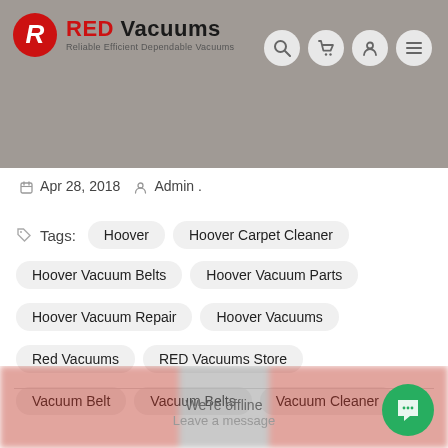[Figure (logo): RED Vacuums logo with red R icon and tagline Reliable Efficient Dependable Vacuums]
Apr 28, 2018   Admin .
Tags:   Hoover   Hoover Carpet Cleaner   Hoover Vacuum Belts   Hoover Vacuum Parts   Hoover Vacuum Repair   Hoover Vacuums   Red Vacuums   RED Vacuums Store   Vacuum Belt   Vacuum Belts   Vacuum Cleaner
[Figure (screenshot): Blurred footer area with chat widget showing We're offline / Leave a message and green chat bubble button]